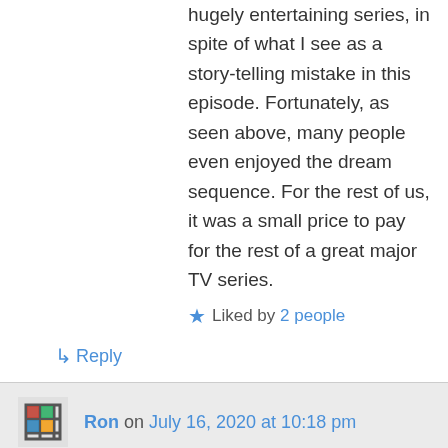hugely entertaining series, in spite of what I see as a story-telling mistake in this episode. Fortunately, as seen above, many people even enjoyed the dream sequence. For the rest of us, it was a small price to pay for the rest of a great major TV series.
★ Liked by 2 people
↳ Reply
Ron on July 16, 2020 at 10:18 pm
I hear you, I felt somewhat the same when this hour first came out. But over time, I've come to have a better appreciation for art—in whatever medium—that's more abstract, non-linear, non-figurative, avant-garde...